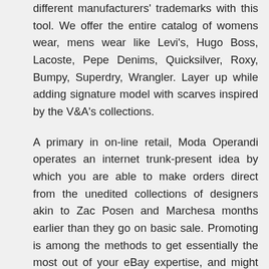different manufacturers' trademarks with this tool. We offer the entire catalog of womens wear, mens wear like Levi's, Hugo Boss, Lacoste, Pepe Denims, Quicksilver, Roxy, Bumpy, Superdry, Wrangler. Layer up while adding signature model with scarves inspired by the V&A's collections.
A primary in on-line retail, Moda Operandi operates an internet trunk-present idea by which you are able to make orders direct from the unedited collections of designers akin to Zac Posen and Marchesa months earlier than they go on basic sale. Promoting is among the methods to get essentially the most out of your eBay expertise, and might make you a tidy sum of cash.
The lighting is incredibly theatrical, capturing the attention of people passing by. Classic golden retro